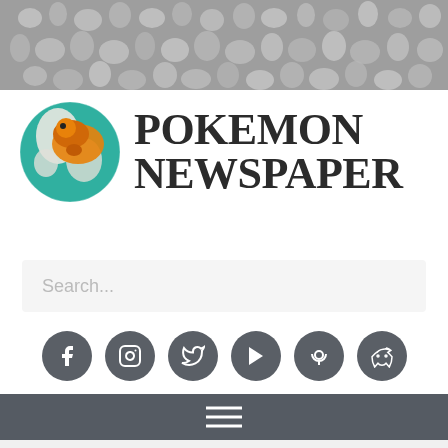[Figure (illustration): Gray banner background filled with small black-and-white Pokemon sprite silhouettes in a repeating pattern]
[Figure (logo): Pokemon Newspaper logo: a globe with a stylized orange Torchic/pokemon figure on it in teal and orange, next to bold serif text reading POKEMON NEWSPAPER in two lines]
Search...
[Figure (infographic): Row of six dark gray circular social media icon buttons: Facebook, Instagram, Twitter, Google Play, Podcast, Discord]
[Figure (infographic): Dark gray navigation bar with hamburger menu icon (three horizontal lines)]